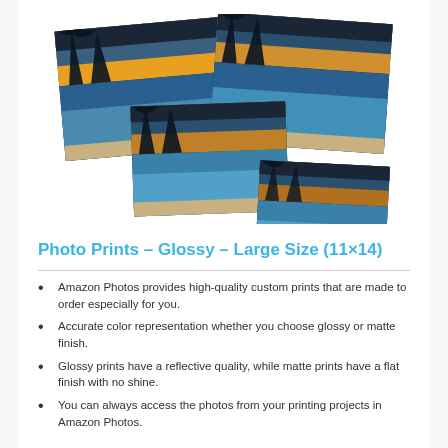[Figure (photo): A collage of multiple photo prints showing a tropical beach sunset scene with palm trees, sky, and ocean water, arranged in overlapping sizes to suggest different print sizes.]
Photo Prints – Glossy – Large Size (11×14)
Amazon Photos provides high-quality custom prints that are made to order especially for you.
Accurate color representation whether you choose glossy or matte finish.
Glossy prints have a reflective quality, while matte prints have a flat finish with no shine.
You can always access the photos from your printing projects in Amazon Photos.